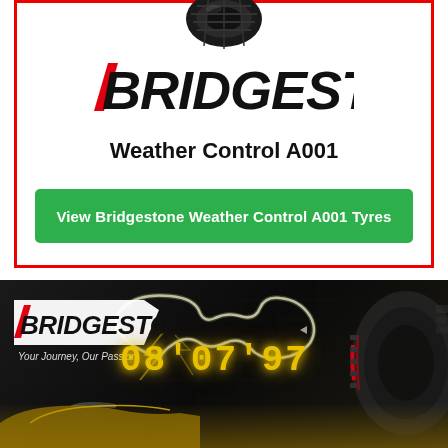[Figure (photo): Top of a Bridgestone tyre (tire) seen from above, black rubber with tread pattern]
[Figure (logo): Bridgestone logo in black italic bold lettering with a red slash/diagonal on the B]
Weather Control A001
View Bridgestone Weather Control A001 Tyres
[Figure (photo): Bridgestone advertisement banner: dark background with a Nürburgring circuit map outline glowing white/yellow, lap time 08'07'97 displayed in large yellow digital numerals, a red-striped sports tyre on the right, a yellow car reflected at bottom left, Bridgestone logo and tagline 'Your Journey, Our Passion' at top left]